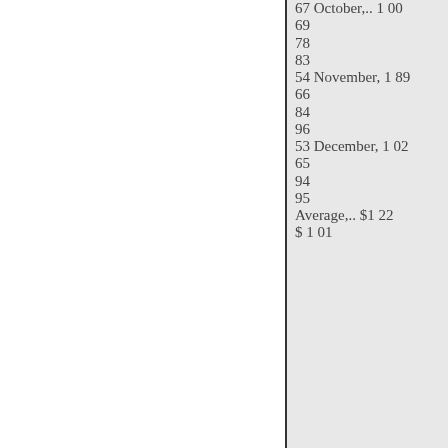| 67 October,.. 1 00 |
| 69 |
| 78 |
| 83 |
| 54 November, 1 89 |
| 66 |
| 84 |
| 96 |
| 53 December, 1 02 |
| 65 |
| 94 |
| 95 |
| Average,.. $1 22 |
| $ 1 01 |